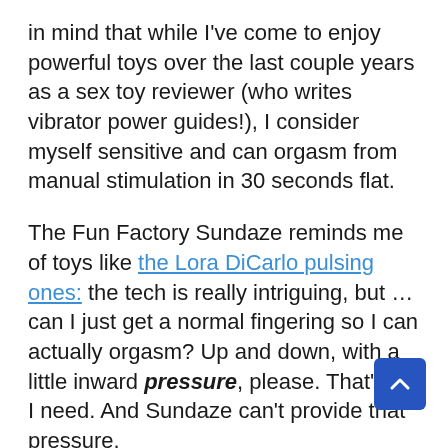in mind that while I've come to enjoy powerful toys over the last couple years as a sex toy reviewer (who writes vibrator power guides!), I consider myself sensitive and can orgasm from manual stimulation in 30 seconds flat.
The Fun Factory Sundaze reminds me of toys like the Lora DiCarlo pulsing ones: the tech is really intriguing, but … can I just get a normal fingering so I can actually orgasm? Up and down, with a little inward pressure, please. That's all I need. And Sundaze can't provide that pressure.
I communicate my truth with words, I